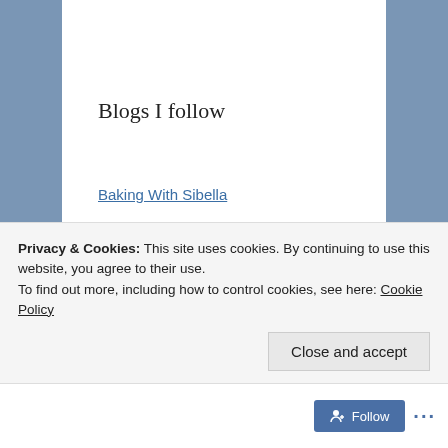Blogs I follow
Baking With Sibella
Advertisements
[Figure (logo): Sensei brand advertisement with dark navy background showing a white circle logo with a tree/sensei icon and the text 'sensei' in white, above a grey photograph section]
Privacy & Cookies: This site uses cookies. By continuing to use this website, you agree to their use.
To find out more, including how to control cookies, see here: Cookie Policy
Close and accept
Follow